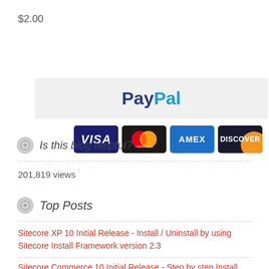$2.00
[Figure (logo): PayPal payment button with gray background, showing 'PayPal' text in blue, and card logos for VISA, Mastercard, AMEX, Discover below]
Is this blog helpful?
201,819 views
Top Posts
Sitecore XP 10 Initial Release - Install / Uninstall by using Sitecore Install Framework version 2.3
Sitecore Commerce 10 Initial Release - Step by step Install Guide...